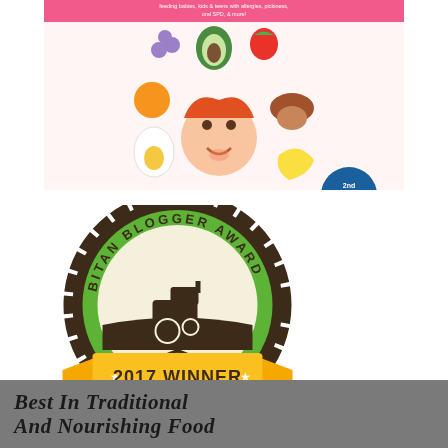[Figure (illustration): Book cover for 'Just Take A Bite' by Mary Voogt, NTP. 2nd Edition. Features colorful food illustrations (grapes, avocado, strawberry, orange, egg, child's face, mushroom, banana, broccoli, carrots, chicken leg) with a pink banner at bottom and text 'feeding babies, kids & teens with allergies, pickiness, oral SPD, & more!']
[Figure (logo): BITAN Blogger Award 2017 Winner badge. Circular badge with scalloped dark brown border, green inner ring with text 'BITAN BLOGGER AWARD', cream center with dark brown tractor/farm scene silhouette, and a yellow/gold ribbon banner at the bottom reading '2017 WINNER' with star decorations and a decorative scroll.]
Best In Traditional And Nourishing Food